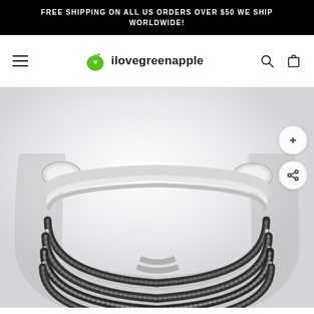FREE SHIPPING ON ALL US ORDERS OVER $50 WE SHIP WORLDWIDE!
[Figure (screenshot): ilovegreenapple website navigation bar with hamburger menu, green apple logo, site name 'ilovegreenapple', search icon and cart icon]
[Figure (photo): Product photo of a silver marcasite cuff bracelet with multiple bands and crystal embellishments on a white/light grey background, with zoom and share buttons overlaid]